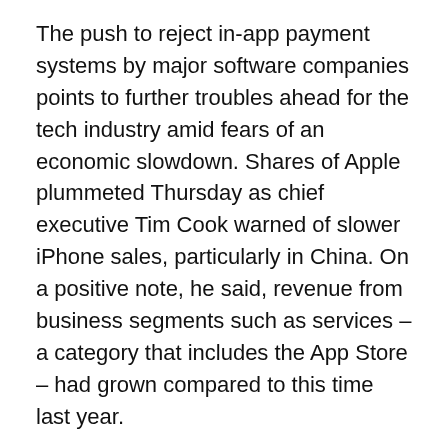The push to reject in-app payment systems by major software companies points to further troubles ahead for the tech industry amid fears of an economic slowdown. Shares of Apple plummeted Thursday as chief executive Tim Cook warned of slower iPhone sales, particularly in China. On a positive note, he said, revenue from business segments such as services – a category that includes the App Store – had grown compared to this time last year.
But as recent decisions by Netflix and Spotify may suggest, a wider revolt against in-app billing could take a growing bite out of that services revenue.
© The Washington Post 201